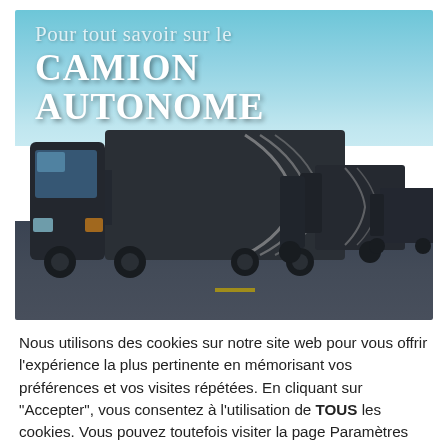[Figure (photo): Banner image showing futuristic autonomous dark-colored semi-trucks driving on a highway under a clear blue sky, with text overlay reading 'Pour tout savoir sur le CAMION AUTONOME']
Nous utilisons des cookies sur notre site web pour vous offrir l'expérience la plus pertinente en mémorisant vos préférences et vos visites répétées. En cliquant sur "Accepter", vous consentez à l'utilisation de TOUS les cookies. Vous pouvez toutefois visiter la page Paramètres des cookies pour fournir un consentement contrôlé.
Réglage des cookies
ACCEPTER